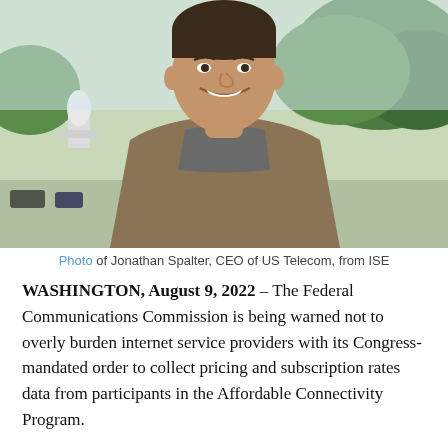[Figure (photo): Photo of Jonathan Spalter, CEO of US Telecom, smiling outdoors with the US Capitol dome visible in the background, wearing a grey turtleneck and tweed blazer.]
Photo of Jonathan Spalter, CEO of US Telecom, from ISE
WASHINGTON, August 9, 2022 – The Federal Communications Commission is being warned not to overly burden internet service providers with its Congress-mandated order to collect pricing and subscription rates data from participants in the Affordable Connectivity Program.
Under the Infrastructure, Investment and Jobs Act, the FCC is required by November 15 to adopt rules to collect